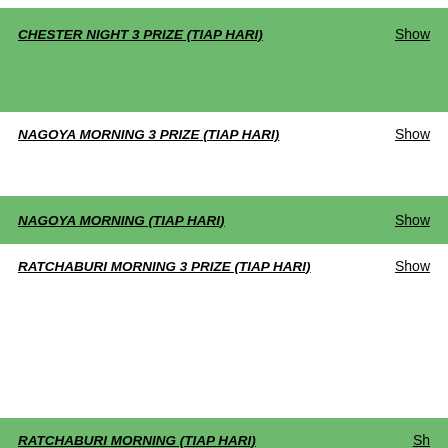CHESTER NIGHT 3 PRIZE (TIAP HARI)    Show
NAGOYA MORNING 3 PRIZE (TIAP HARI)    Show
NAGOYA MORNING (TIAP HARI)    Show
RATCHABURI MORNING 3 PRIZE (TIAP HARI)    Show
RATCHABURI MORNING (TIAP HARI)    Show